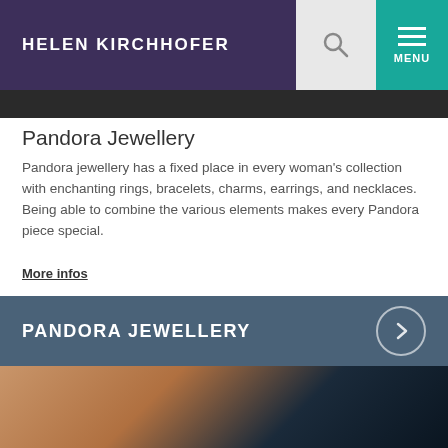HELEN KIRCHHOFER
Pandora Jewellery
Pandora jewellery has a fixed place in every woman's collection with enchanting rings, bracelets, charms, earrings, and necklaces. Being able to combine the various elements makes every Pandora piece special.
More infos
PANDORA JEWELLERY
[Figure (photo): Close-up photo of a woman's neck/décolletage area with skin tones transitioning to dark background, likely showcasing jewellery]